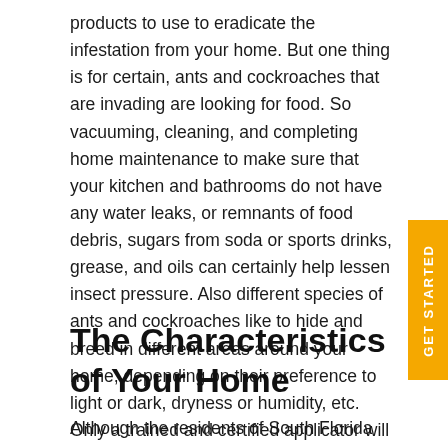products to use to eradicate the infestation from your home. But one thing is for certain, ants and cockroaches that are invading are looking for food. So vacuuming, cleaning, and completing home maintenance to make sure that your kitchen and bathrooms do not have any water leaks, or remnants of food debris, sugars from soda or sports drinks, grease, and oils can certainly help lessen insect pressure. Also different species of ants and cockroaches like to hide and breed in different areas around your home, depending on their preference to light or dark, dryness or humidity, etc. Only a trained and certified applicator will know exactly where to look.
The Characteristics of Your Home
Although the residents of South Florida love our weather, insects love our tropical climate, too! Since we